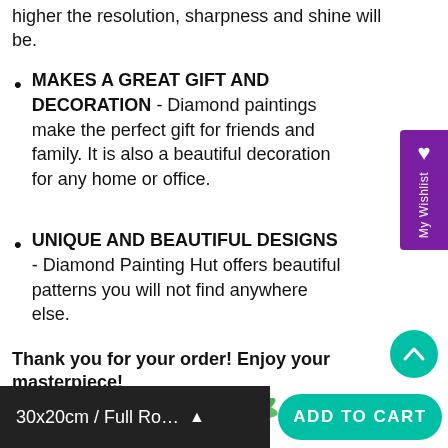higher the resolution, sharpness and shine will be.
MAKES A GREAT GIFT AND DECORATION - Diamond paintings make the perfect gift for friends and family. It is also a beautiful decoration for any home or office.
UNIQUE AND BEAUTIFUL DESIGNS - Diamond Painting Hut offers beautiful patterns you will not find anywhere else.
Thank you for your order! Enjoy your masterpiece!
[Figure (illustration): Partial view of a tropical beach scene with palm tree and water splash, bottom of product page.]
30x20cm / Full Ro...  ADD TO CART